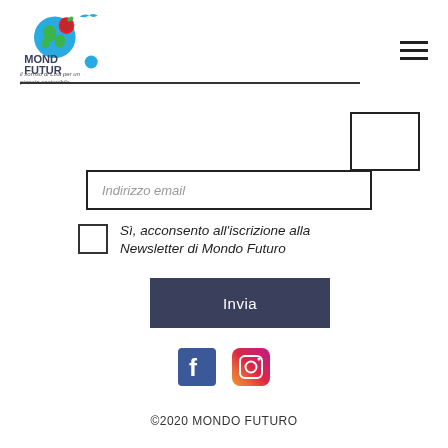[Figure (logo): Mondo Futuro logo with colorful globe and text 'il sorriso di Lisa per un pianeta sostenibile']
[Figure (other): Hamburger menu icon (three horizontal lines)]
[Figure (other): Small empty rectangle box in upper right area]
Indirizzo email
Sì, acconsento all'iscrizione alla Newsletter di Mondo Futuro
Invia
[Figure (other): Facebook and Instagram social media icons]
©2020 MONDO FUTURO